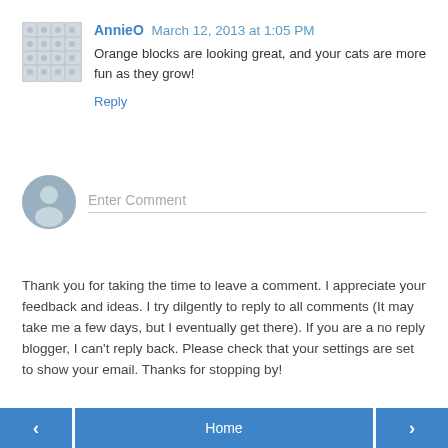AnnieO March 12, 2013 at 1:05 PM
Orange blocks are looking great, and your cats are more fun as they grow!
Reply
Enter Comment
Thank you for taking the time to leave a comment. I appreciate your feedback and ideas. I try dilgently to reply to all comments (It may take me a few days, but I eventually get there). If you are a no reply blogger, I can't reply back. Please check that your settings are set to show your email. Thanks for stopping by!
‹   Home   ›